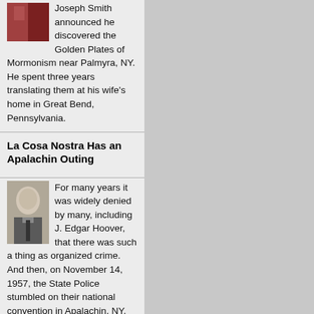Joseph Smith announced he discovered the Golden Plates of Mormonism near Palmyra, NY. He spent three years translating them at his wife's home in Great Bend, Pennsylvania.
La Cosa Nostra Has an Apalachin Outing
For many years it was widely denied by many, including J. Edgar Hoover, that there was such a thing as organized crime. And then, on November 14, 1957, the State Police stumbled on their national convention in Apalachin, NY.
Sayre / Athens
The Susquehanna running due west, takes an abrupt turn south at Sayre, right on the Pennsylvania/New York border.